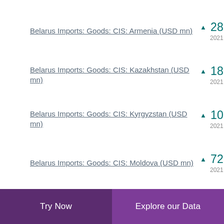Belarus Imports: Goods: CIS: Armenia (USD mn) ▲ 28.900 2021
Belarus Imports: Goods: CIS: Kazakhstan (USD mn) ▲ 180.700 2021
Belarus Imports: Goods: CIS: Kyrgyzstan (USD mn) ▲ 10.900 2021
Belarus Imports: Goods: CIS: Moldova (USD mn) ▲ 72.300 2021
Try Now | Explore our Data